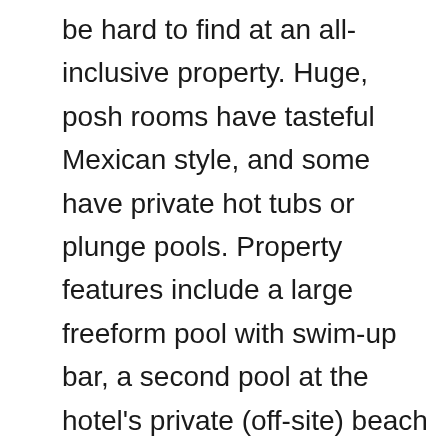be hard to find at an all-inclusive property. Huge, posh rooms have tasteful Mexican style, and some have private hot tubs or plunge pools. Property features include a large freeform pool with swim-up bar, a second pool at the hotel's private (off-site) beach club, two restaurants (gourmet Mexican cuisine on-site, and Asian fusion at the beach club), a nice spa and gym, and golf privileges at Marina Vallarta Golf Club